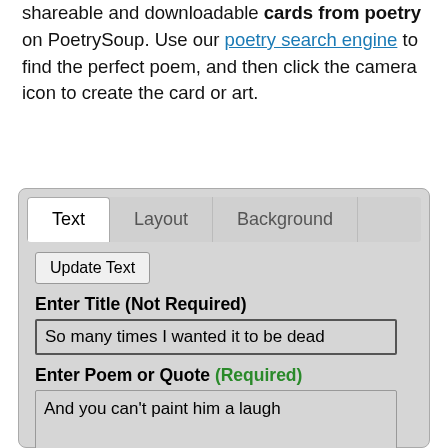shareable and downloadable cards from poetry on PoetrySoup. Use our poetry search engine to find the perfect poem, and then click the camera icon to create the card or art.
[Figure (screenshot): A UI panel with tabs labeled Text, Layout, Background. Below the tabs is an Update Text button, a text input labeled Enter Title (Not Required) containing 'So many times I wanted it to be dead', and a textarea labeled 'Enter Poem or Quote (Required)' containing poem lines starting with 'And you can't paint him a laugh...']